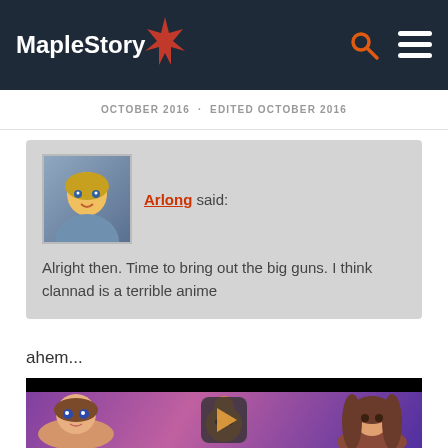MapleStory
OCTOBER 2016  EDITED OCTOBER 2016
Arlong said:
Alright then. Time to bring out the big guns. I think clannad is a terrible anime
ahem...
[Figure (screenshot): Anime video thumbnail showing two anime girl characters — a chibi-style brown-haired girl with large blue eyes on the left, and a realistic-style brown-haired girl on the right, with an orange round creature in the center background. A YouTube-style play button overlay is shown in the center.]